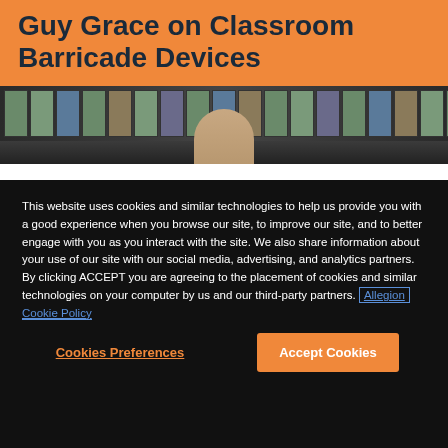Guy Grace on Classroom Barricade Devices
[Figure (photo): Bald man standing in front of multiple security camera monitor screens showing various surveillance feeds]
This website uses cookies and similar technologies to help us provide you with a good experience when you browse our site, to improve our site, and to better engage with you as you interact with the site. We also share information about your use of our site with our social media, advertising, and analytics partners. By clicking ACCEPT you are agreeing to the placement of cookies and similar technologies on your computer by us and our third-party partners. Allegion Cookie Policy
Cookies Preferences
Accept Cookies